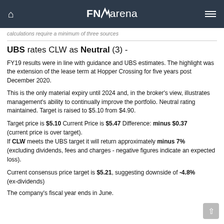FNArena
calculations require a minimum of three sources
UBS rates CLW as Neutral (3) -
FY19 results were in line with guidance and UBS estimates. The highlight was the extension of the lease term at Hopper Crossing for five years post December 2020.
This is the only material expiry until 2024 and, in the broker's view, illustrates management's ability to continually improve the portfolio. Neutral rating maintained. Target is raised to $5.10 from $4.90.
Target price is $5.10 Current Price is $5.47 Difference: minus $0.37 (current price is over target). If CLW meets the UBS target it will return approximately minus 7% (excluding dividends, fees and charges - negative figures indicate an expected loss).
Current consensus price target is $5.21, suggesting downside of -4.8% (ex-dividends)
The company's fiscal year ends in June.